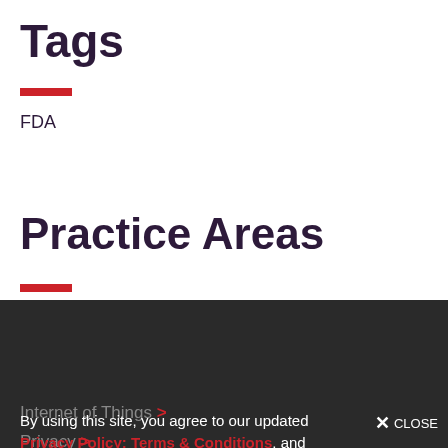Tags
FDA
Practice Areas
Artificial Intelligence (AI) >
Digital Health >
Food & Drug >
Internet of Things >
Privacy >
Telecom, Media & Technology >
By using this site, you agree to our updated Privacy Policy; Terms & Conditions, and Cookies Policy.